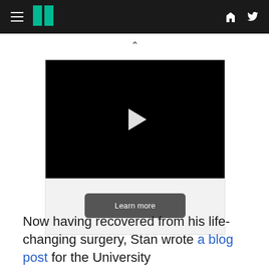HuffPost navigation with hamburger menu, logo, Facebook and Twitter icons
[Figure (screenshot): Video player with black background and white play button triangle in center]
Learn more
Now having recovered from his life-changing surgery, Stan wrote a blog post for the University